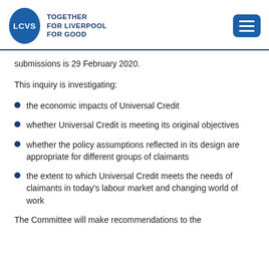[Figure (logo): LCVS logo with tagline TOGETHER FOR LIVERPOOL FOR GOOD in dark blue, and a hamburger menu button on the right]
submissions is 29 February 2020.
This inquiry is investigating:
the economic impacts of Universal Credit
whether Universal Credit is meeting its original objectives
whether the policy assumptions reflected in its design are appropriate for different groups of claimants
the extent to which Universal Credit meets the needs of claimants in today's labour market and changing world of work
The Committee will make recommendations to the